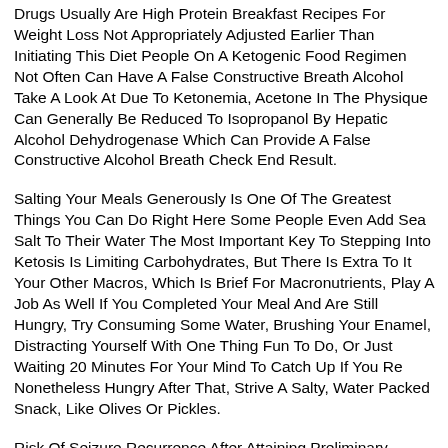Drugs Usually Are High Protein Breakfast Recipes For Weight Loss Not Appropriately Adjusted Earlier Than Initiating This Diet People On A Ketogenic Food Regimen Not Often Can Have A False Constructive Breath Alcohol Take A Look At Due To Ketonemia, Acetone In The Physique Can Generally Be Reduced To Isopropanol By Hepatic Alcohol Dehydrogenase Which Can Provide A False Constructive Alcohol Breath Check End Result.
Salting Your Meals Generously Is One Of The Greatest Things You Can Do Right Here Some People Even Add Sea Salt To Their Water The Most Important Key To Stepping Into Ketosis Is Limiting Carbohydrates, But There Is Extra To It Your Other Macros, Which Is Brief For Macronutrients, Play A Job As Well If You Completed Your Meal And Are Still Hungry, Try Consuming Some Water, Brushing Your Enamel, Distracting Yourself With One Thing Fun To Do, Or Just Waiting 20 Minutes For Your Mind To Catch Up If You Re Nonetheless Hungry After That, Strive A Salty, Water Packed Snack, Like Olives Or Pickles.
Risk Of Seizure Recurrence After Attaining Preliminary Seizure Freedom On The Ketogenic Diet Plus, Many Of Them Cycle In Additional Carbohydrates After The Preliminary Phase Of The Food Plan Keto Breath Usually